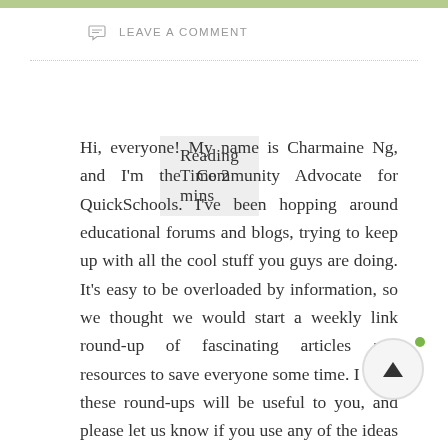LEAVE A COMMENT
Reading Time 2 mins
Hi, everyone! My name is Charmaine Ng, and I'm the Community Advocate for QuickSchools. I've been hopping around educational forums and blogs, trying to keep up with all the cool stuff you guys are doing. It's easy to be overloaded by information, so we thought we would start a weekly link round-up of fascinating articles and resources to save everyone some time. I hope these round-ups will be useful to you, and please let us know if you use any of the ideas in your classroom, or if you have links to share – we're all ears! Enjoy, and have a great weekend!